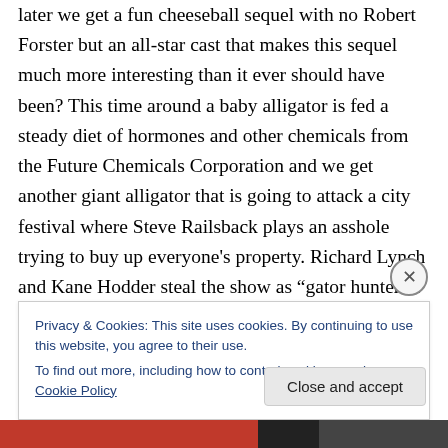later we get a fun cheeseball sequel with no Robert Forster but an all-star cast that makes this sequel much more interesting than it ever should have been? This time around a baby alligator is fed a steady diet of hormones and other chemicals from the Future Chemicals Corporation and we get another giant alligator that is going to attack a city festival where Steve Railsback plays an asshole trying to buy up everyone's property. Richard Lynch and Kane Hodder steal the show as “gator hunters”. This sequel is dislike by some horror fans, for me it has
Privacy & Cookies: This site uses cookies. By continuing to use this website, you agree to their use.
To find out more, including how to control cookies, see here: Cookie Policy